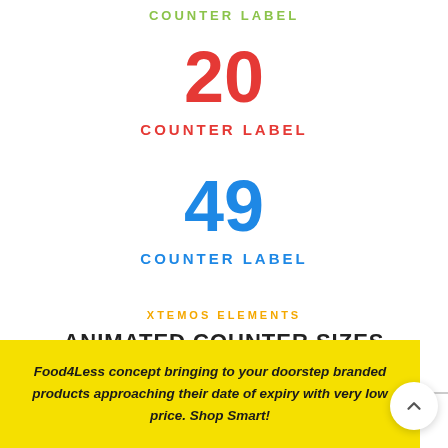COUNTER LABEL
20
COUNTER LABEL
49
COUNTER LABEL
XTEMOS ELEMENTS
ANIMATED COUNTER SIZES
Food4Less concept bringing to your doorstep branded products approaching their date of expiry with very low price. Shop Smart!